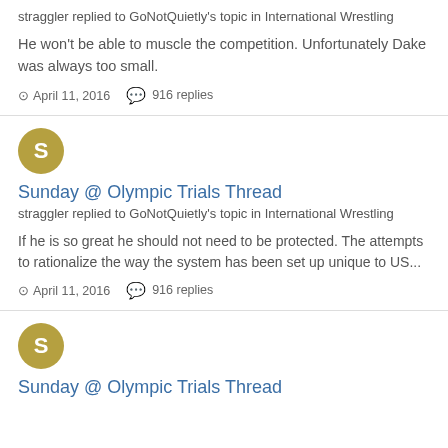straggler replied to GoNotQuietly's topic in International Wrestling
He won't be able to muscle the competition. Unfortunately Dake was always too small.
April 11, 2016   916 replies
[Figure (illustration): Gold circular avatar with white letter S]
Sunday @ Olympic Trials Thread
straggler replied to GoNotQuietly's topic in International Wrestling
If he is so great he should not need to be protected. The attempts to rationalize the way the system has been set up unique to US...
April 11, 2016   916 replies
[Figure (illustration): Gold circular avatar with white letter S]
Sunday @ Olympic Trials Thread